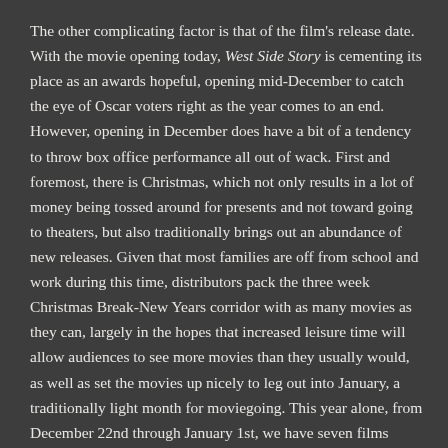The other complicating factor is that of the film's release date. With the movie opening today, West Side Story is cementing its place as an awards hopeful, opening mid-December to catch the eye of Oscar voters right as the year comes to an end. However, opening in December does have a bit of a tendency to throw box office performance all out of wack. First and foremost, there is Christmas, which not only results in a lot of money being tossed around for presents and not toward going to theaters, but also traditionally brings out an abundance of new releases. Given that most families are off from school and work during this time, distributors pack the three week Christmas Break-New Years corridor with as many movies as they can, largely in the hopes that increased leisure time will allow audiences to see more movies than they usually would, as well as set the movies up nicely to leg out into January, a traditionally light month for moviegoing. This year alone, from December 22nd through January 1st, we have seven films opening wide, and that is on top of next week's release, Nightmare Alley and Spider-Man: No Way